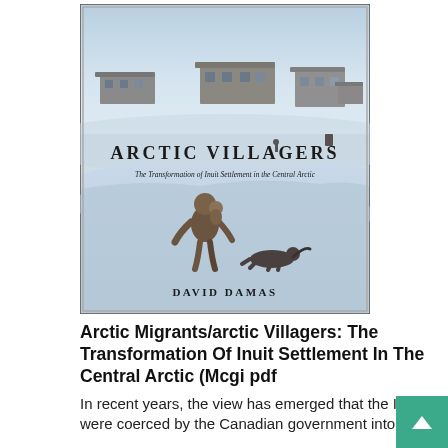[Figure (photo): Book cover of 'Arctic Villagers: The Transformation of Inuit Settlement in the Central Arctic' by David Damas. Shows a snowy arctic landscape with buildings in the background, a person in traditional clothing carrying a child, and a dog in the foreground. Text on the cover reads 'ARCTIC VILLAGERS' and 'The Transformation of Inuit Settlement in the Central Arctic' and 'DAVID DAMAS'.]
Arctic Migrants/arctic Villagers: The Transformation Of Inuit Settlement In The Central Arctic (Mcgi pdf
In recent years, the view has emerged that the Inuit were coerced by the Canadian government into ab...